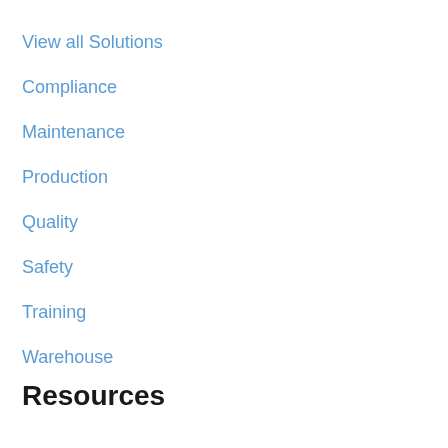View all Solutions
Compliance
Maintenance
Production
Quality
Safety
Training
Warehouse
Resources